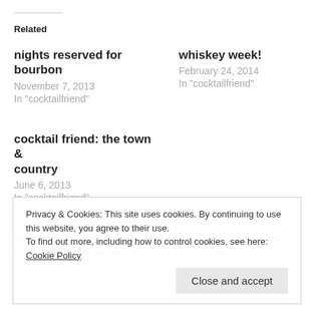Related
nights reserved for bourbon
November 7, 2013
In "cocktailfriend"
whiskey week!
February 24, 2014
In "cocktailfriend"
cocktail friend: the town & country
June 6, 2013
In "cocktailfriend"
Tags: bourbon, breakfast at tiffanys, cocktails, Small batch bourbon, whiskey, Woodford Reserve. Bookmark the permalink.
Privacy & Cookies: This site uses cookies. By continuing to use this website, you agree to their use.
To find out more, including how to control cookies, see here: Cookie Policy
Close and accept